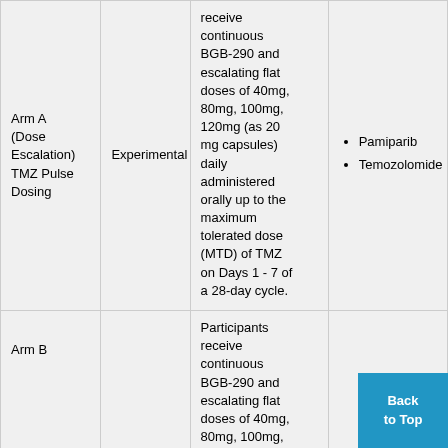| Arm | Type | Intervention Description | Drugs |
| --- | --- | --- | --- |
| Arm A (Dose Escalation) TMZ Pulse Dosing | Experimental | Participants receive continuous BGB-290 and escalating flat doses of 40mg, 80mg, 100mg, 120mg (as 20 mg capsules) daily administered orally up to the maximum tolerated dose (MTD) of TMZ on Days 1 - 7 of a 28-day cycle. | Pamiparib
Temozolomide |
| Arm B | Experimental | Participants receive continuous BGB-290 and escalating flat doses of 40mg, 80mg, 100mg, |  |